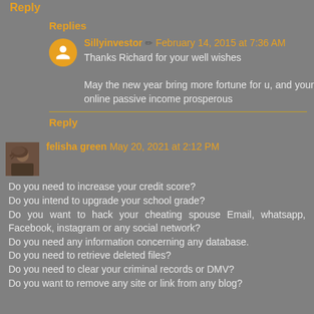Reply
Replies
Sillyinvestor ✏ February 14, 2015 at 7:36 AM
Thanks Richard for your well wishes

May the new year bring more fortune for u, and your online passive income prosperous
Reply
felisha green May 20, 2021 at 2:12 PM
Do you need to increase your credit score?
Do you intend to upgrade your school grade?
Do you want to hack your cheating spouse Email, whatsapp, Facebook, instagram or any social network?
Do you need any information concerning any database.
Do you need to retrieve deleted files?
Do you need to clear your criminal records or DMV?
Do you want to remove any site or link from any blog?